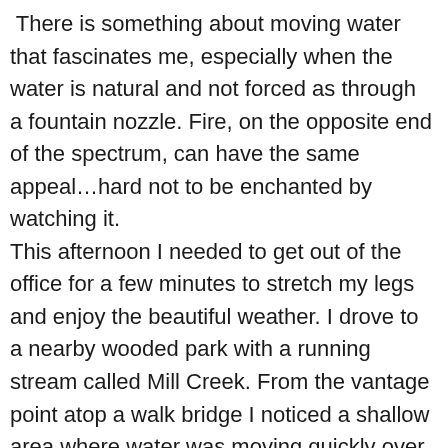There is something about moving water that fascinates me, especially when the water is natural and not forced as through a fountain nozzle. Fire, on the opposite end of the spectrum, can have the same appeal…hard not to be enchanted by watching it. This afternoon I needed to get out of the office for a few minutes to stretch my legs and enjoy the beautiful weather. I drove to a nearby wooded park with a running stream called Mill Creek. From the vantage point atop a walk bridge I noticed a shallow area where water was moving quickly over rocks. Then, the leaf caught my eye. I decided to take a closer look and proceeded to make my way down the steep bank to the creek. As I knelt to study this site I marveled at the fact that this maple leaf had become trapped with all that water flowing over it-like it was painted on the rocks. The sun was illuminating the